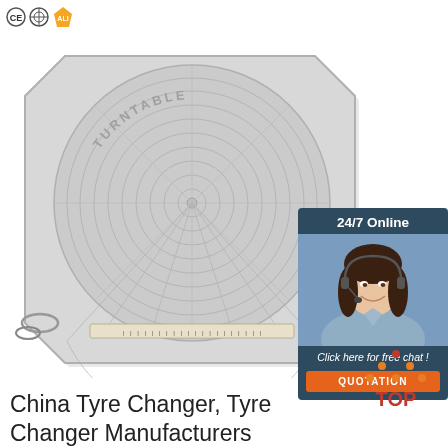[Figure (logo): CE certification logo, quality mark, and gold supplier badge icons in top-left corner]
[Figure (photo): Gray plastic turntable/alignment plate with concentric circle grid pattern and ruler scale at bottom, two metal handles on sides, text TURNTABLE embossed on top]
[Figure (infographic): 24/7 Online chat widget with dark blue background showing a smiling customer service woman wearing a headset, text 'Click here for free chat!' and orange QUOTATION button]
[Figure (logo): Orange and dark red TOP logo with dot pattern triangle above the text]
China Tyre Changer, Tyre Changer Manufacturers